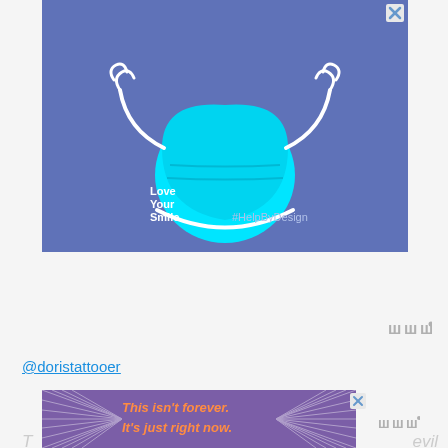[Figure (illustration): Advertisement banner with blue/periwinkle background showing a illustrated cyan surgical face mask with white ribbon ear loops styled like arms raised up. Text reads 'Love Your Smile.' and '#HelpByDesign'. Close X button top right.]
@doristattooer
[Figure (illustration): Advertisement banner with purple background and radiating white lines pattern. Orange text reads 'This isn't forever. It's just right now.' Close X button top right corner.]
T... evil...